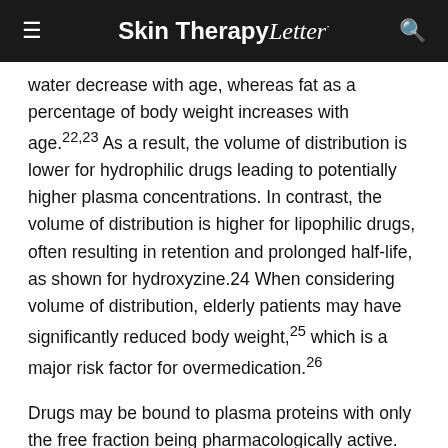Skin Therapy Letter
water decrease with age, whereas fat as a percentage of body weight increases with age.22,23 As a result, the volume of distribution is lower for hydrophilic drugs leading to potentially higher plasma concentrations. In contrast, the volume of distribution is higher for lipophilic drugs, often resulting in retention and prolonged half-life, as shown for hydroxyzine.24 When considering volume of distribution, elderly patients may have significantly reduced body weight,25 which is a major risk factor for overmedication.26
Drugs may be bound to plasma proteins with only the free fraction being pharmacologically active. The two plasma proteins to which drugs can bind are albumin and á-1-acid glycoprotein, and these may change with age.27 Albumin levels tend to decrease with advancing age, whereas á-1-acid glycoprotein may increase.28,29 Thus, the ratio of bound to